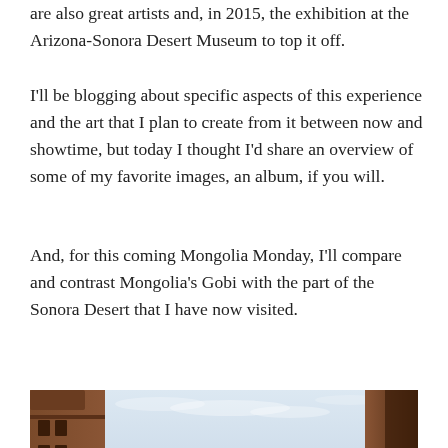are also great artists and, in 2015, the exhibition at the Arizona-Sonora Desert Museum to top it off.
I’ll be blogging about specific aspects of this experience and the art that I plan to create from it between now and showtime, but today I thought I’d share an overview of some of my favorite images, an album, if you will.
And, for this coming Mongolia Monday, I’ll compare and contrast Mongolia’s Gobi with the part of the Sonora Desert that I have now visited.
[Figure (photo): Outdoor photo showing a resort or museum building with terracotta/adobe-style architecture on the left and right edges, a body of water (sea or lake) in the middle distance, mountains in the background, palm trees in the foreground, and an overcast sky.]